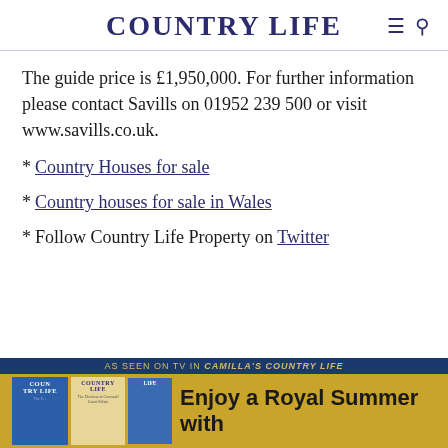COUNTRY LIFE
The guide price is £1,950,000. For further information please contact Savills on 01952 239 500 or visit www.savills.co.uk.
* Country Houses for sale
* Country houses for sale in Wales
* Follow Country Life Property on Twitter
[Figure (other): Advertisement banner for Country Life magazine with gold background showing magazine covers and text 'AS SEEN ON TV IN CAMILLA'S COUNTRY LIFE' and 'Enjoy a Royal Summer with']